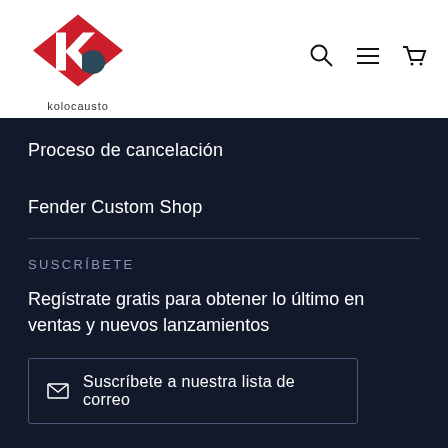[Figure (logo): Kolocausto brand logo: red diamond shape with white K letter and dark grey partial circle, text 'kolocausto' below]
[Figure (other): Navigation icons: search magnifier, hamburger menu, shopping cart]
Proceso de cancelación
Fender Custom Shop
SUSCRÍBETE
Regístrate gratis para obtener lo último en ventas y nuevos lanzamientos
Suscríbete a nuestra lista de correo